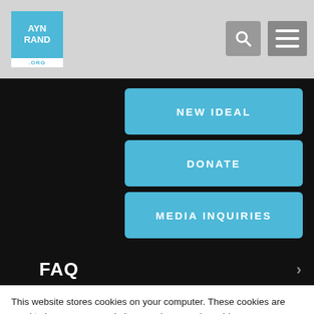[Figure (screenshot): Website header with Ayn Rand logo (blue square), search icon, and hamburger menu icon on gray background]
[Figure (screenshot): Black navigation area with three blue rounded-rectangle buttons labeled NEW IDEAL, DONATE, MEDIA INQUIRIES, and FAQ section header]
This website stores cookies on your computer. These cookies are used to improve your website experience and provide more personalized services to you, both on this website and through other media. To find out more about the cookies we use, see our Privacy Policy.
We won't track your information when you visit our site. But in order to comply with your preferences, we'll have to use just one tiny cookie so that you're not asked to make this choice again.
Accept
Decline